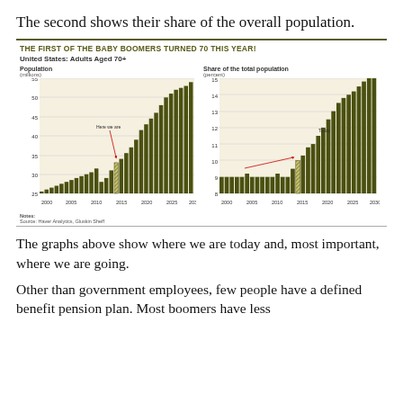The second shows their share of the overall population.
[Figure (grouped-bar-chart): THE FIRST OF THE BABY BOOMERS TURNED 70 THIS YEAR!]
The graphs above show where we are today and, most important, where we are going.
Other than government employees, few people have a defined benefit pension plan. Most boomers have less